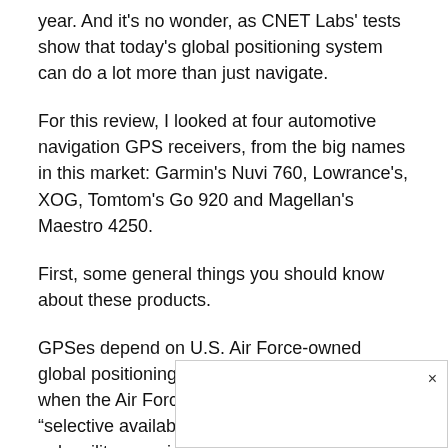year. And it's no wonder, as CNET Labs' tests show that today's global positioning system can do a lot more than just navigate.
For this review, I looked at four automotive navigation GPS receivers, from the big names in this market: Garmin's Nuvi 760, Lowrance's, XOG, Tomtom's Go 920 and Magellan's Maestro 4250.
First, some general things you should know about these products.
GPSes depend on U.S. Air Force-owned global positioning satellites. There are times when the Air Force can invoke what it calls “selective availability.” In that circumstance, only military navigation units can get accurate information. Everyon